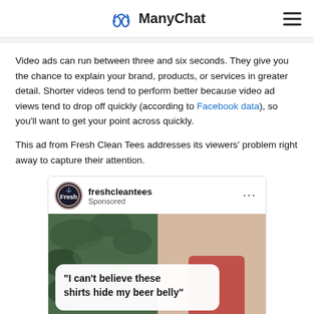ManyChat
Video ads can run between three and six seconds. They give you the chance to explain your brand, products, or services in greater detail. Shorter videos tend to perform better because video ad views tend to drop off quickly (according to Facebook data), so you'll want to get your point across quickly.
This ad from Fresh Clean Tees addresses its viewers' problem right away to capture their attention.
[Figure (screenshot): Facebook ad from freshcleantees (Sponsored) showing a quote overlay on a plant background: "I can't believe these shirts hide my beer belly"]